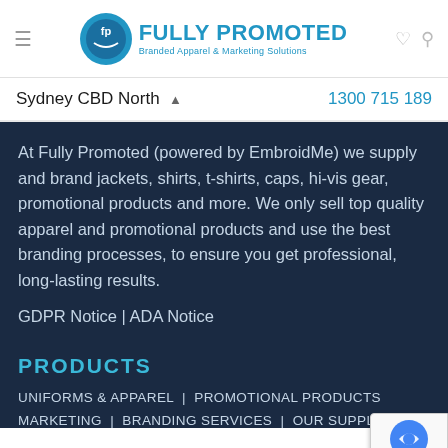Fully Promoted — Branded Apparel & Marketing Solutions
Sydney CBD North  1300 715 189
At Fully Promoted (powered by EmbroidMe) we supply and brand jackets, shirts, t-shirts, caps, hi-vis gear, promotional products and more. We only sell top quality apparel and promotional products and use the best branding processes, to ensure you get professional, long-lasting results.
GDPR Notice | ADA Notice
PRODUCTS
UNIFORMS & APPAREL | PROMOTIONAL PRODUCTS
MARKETING | BRANDING SERVICES | OUR SUPPLIERS